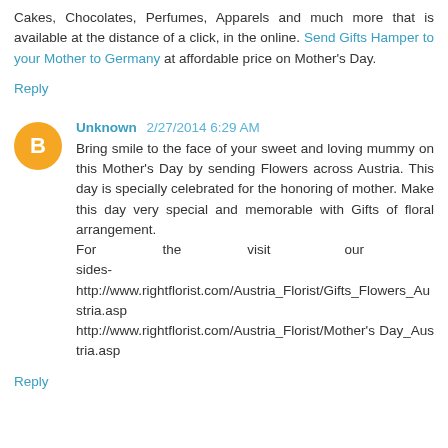Cakes, Chocolates, Perfumes, Apparels and much more that is available at the distance of a click, in the online. Send Gifts Hamper to your Mother to Germany at affordable price on Mother's Day.
Reply
Unknown  2/27/2014 6:29 AM
Bring smile to the face of your sweet and loving mummy on this Mother's Day by sending Flowers across Austria. This day is specially celebrated for the honoring of mother. Make this day very special and memorable with Gifts of floral arrangement.
For the visit our sides- http://www.rightflorist.com/Austria_Florist/Gifts_Flowers_Austria.asp
http://www.rightflorist.com/Austria_Florist/Mother's Day_Austria.asp
Reply